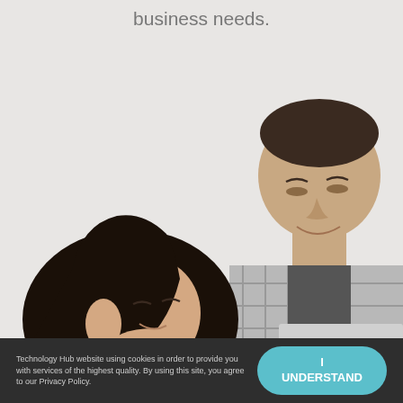business needs.
[Figure (photo): Two people working: a woman with dark hair looking down on the left, and a man in a plaid shirt working on a laptop on the right, against a light grey background.]
Technology Hub website using cookies in order to provide you with services of the highest quality. By using this site, you agree to our Privacy Policy.
I UNDERSTAND